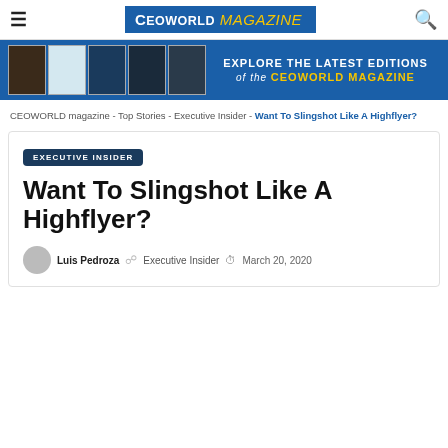CEOWORLD Magazine
[Figure (screenshot): CEOWORLD Magazine banner showing latest magazine covers with text 'EXPLORE THE LATEST EDITIONS of the CEOWORLD MAGAZINE']
CEOWORLD magazine - Top Stories - Executive Insider - Want To Slingshot Like A Highflyer?
EXECUTIVE INSIDER
Want To Slingshot Like A Highflyer?
Luis Pedroza   Executive Insider   March 20, 2020